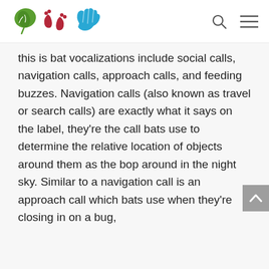[Figure (logo): Three icons: green leaf, dark red footprints, blue hand wave]
this is bat vocalizations include social calls, navigation calls, approach calls, and feeding buzzes. Navigation calls (also known as travel or search calls) are exactly what it says on the label, they're the call bats use to determine the relative location of objects around them as the bop around in the night sky. Similar to a navigation call is an approach call which bats use when they're closing in on a bug,